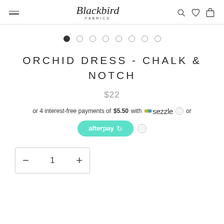Blackbird Fabrics
[Figure (screenshot): Image carousel dots — 8 dots, first one filled/active]
ORCHID DRESS - CHALK & NOTCH
$22
or 4 interest-free payments of $5.50 with Sezzle or afterpay